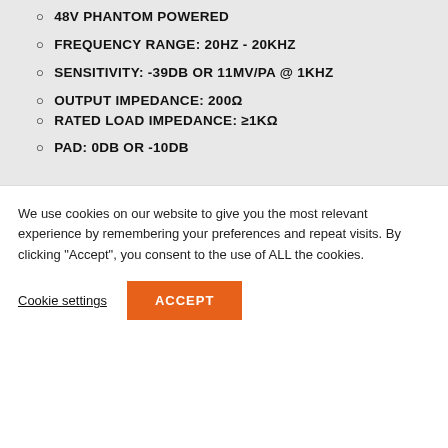48V PHANTOM POWERED
FREQUENCY RANGE: 20HZ - 20KHZ
SENSITIVITY: -39DB OR 11MV/PA @ 1KHZ
OUTPUT IMPEDANCE: 200Ω
RATED LOAD IMPEDANCE: ≥1KΩ
PAD: 0DB OR -10DB
We use cookies on our website to give you the most relevant experience by remembering your preferences and repeat visits. By clicking "Accept", you consent to the use of ALL the cookies.
Cookie settings
ACCEPT